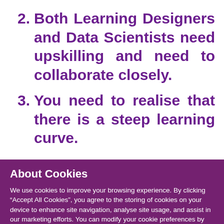2. Both Learning Designers and Data Scientists need upskilling and need to collaborate closely.
3. You need to realise that there is a steep learning curve.
About Cookies
We use cookies to improve your browsing experience. By clicking “Accept All Cookies”, you agree to the storing of cookies on your device to enhance site navigation, analyse site usage, and assist in our marketing efforts. You can modify your cookie preferences by clicking on cookie settings within our Cookie Policy
Cookie Settings   Accept All Cookies